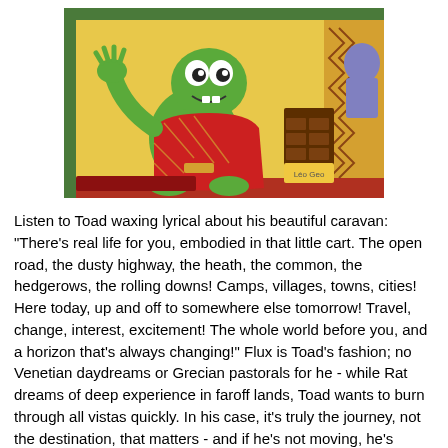[Figure (illustration): A cartoon illustration showing Toad (a green anthropomorphic toad character) in a colorful room, waving his hand, surrounded by vibrant yellow, red, and patterned backgrounds with furniture visible.]
Listen to Toad waxing lyrical about his beautiful caravan: "There's real life for you, embodied in that little cart. The open road, the dusty highway, the heath, the common, the hedgerows, the rolling downs! Camps, villages, towns, cities! Here today, up and off to somewhere else tomorrow! Travel, change, interest, excitement! The whole world before you, and a horizon that's always changing!" Flux is Toad's fashion; no Venetian daydreams or Grecian pastorals for he - while Rat dreams of deep experience in faroff lands, Toad wants to burn through all vistas quickly. In his case, it's truly the journey, not the destination, that matters - and if he's not moving, he's bored. Toad is ADD avant la lettre.